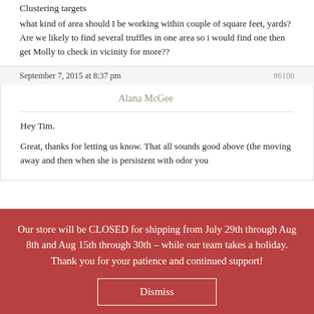Clustering targets
what kind of area should I be working within couple of square feet, yards? Are we likely to find several truffles in one area so i would find one then get Molly to check in vicinity for more??
September 7, 2015 at 8:37 pm   #6100
Alana McGee
Hey Tim.
Great, thanks for letting us know. That all sounds good above (the moving away and then when she is persistent with odor you
Our store will be CLOSED for shipping from July 29th through Aug 8th and Aug 15th through 30th - while our team takes a holiday. Thank you for your patience and continued support!
Dismiss